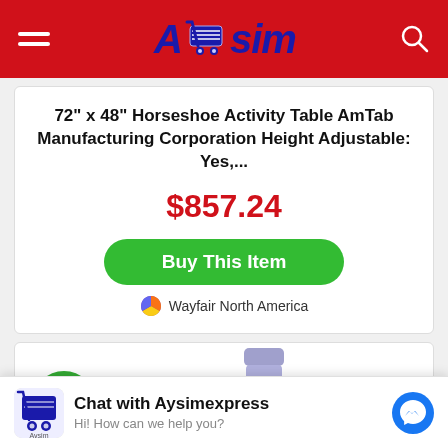AUsim
72" x 48" Horseshoe Activity Table AmTab Manufacturing Corporation Height Adjustable: Yes,...
$857.24
Buy This Item
Wayfair North America
[Figure (photo): Product image partially visible, with -38% discount badge circle]
Chat with Aysimexpress
Hi! How can we help you?